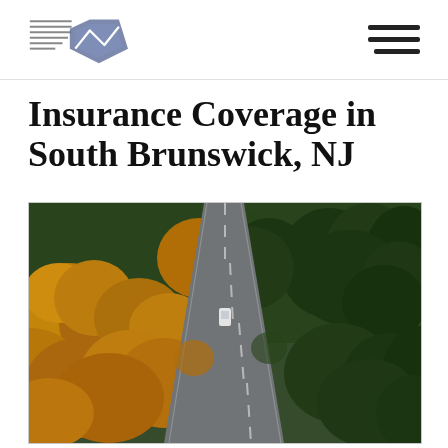Insurance Coverage in South Brunswick, NJ
Insurance Coverage in South Brunswick, NJ
[Figure (photo): Aerial view of a winding road through autumn and evergreen forest with a white vehicle on the road]